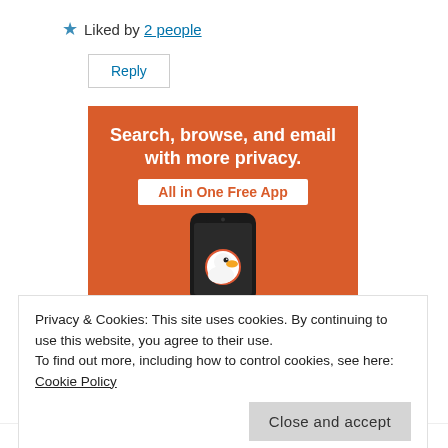★ Liked by 2 people
Reply
[Figure (illustration): DuckDuckGo advertisement banner with orange background. Text reads: 'Search, browse, and email with more privacy. All in One Free App'. Shows a smartphone with the DuckDuckGo duck logo on screen.]
Privacy & Cookies: This site uses cookies. By continuing to use this website, you agree to their use.
To find out more, including how to control cookies, see here: Cookie Policy
Close and accept
BoringAV@Audio Killed the Bookmark